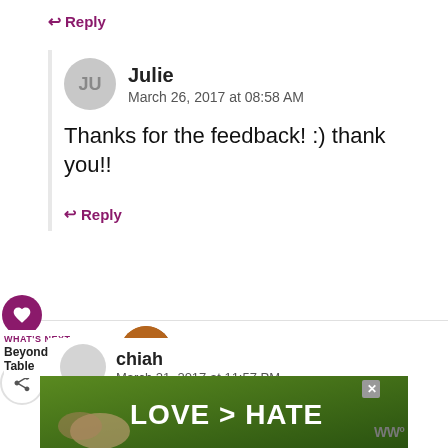↩ Reply
Julie
March 26, 2017 at 08:58 AM
Thanks for the feedback! :) thank you!!
↩ Reply
3
WHAT'S NEXT → Beyond the Table
chiah
March 21, 2017 at 11:57 PM
[Figure (photo): Advertisement banner with text LOVE > HATE on a green outdoor background]
WWº